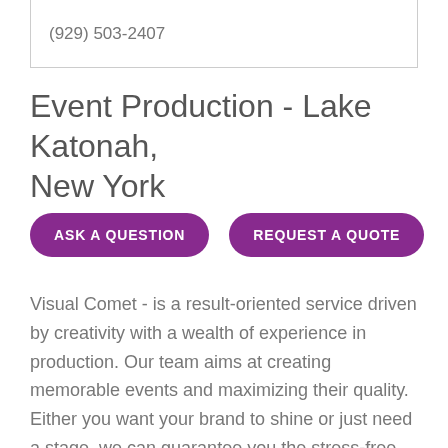(929) 503-2407
Event Production - Lake Katonah, New York
ASK A QUESTION
REQUEST A QUOTE
Visual Comet - is a result-oriented service driven by creativity with a wealth of experience in production. Our team aims at creating memorable events and maximizing their quality. Either you want your brand to shine or just need a stage, we can guarantee you the stress-free and pocket-friendly journey with the best possible outcome. Our team can take care of every event management aspect from pre-